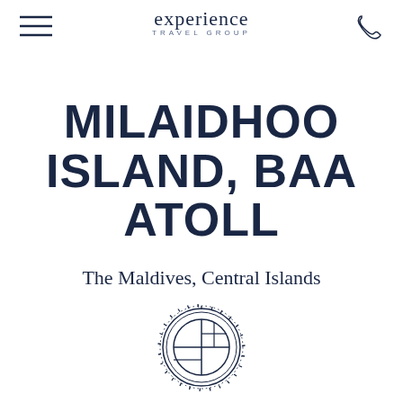experience TRAVEL GROUP
MILAIDHOO ISLAND, BAA ATOLL
The Maldives, Central Islands
[Figure (logo): Circular logo with geometric grid pattern inside, surrounded by dashed/tick border ring, in dark navy color]